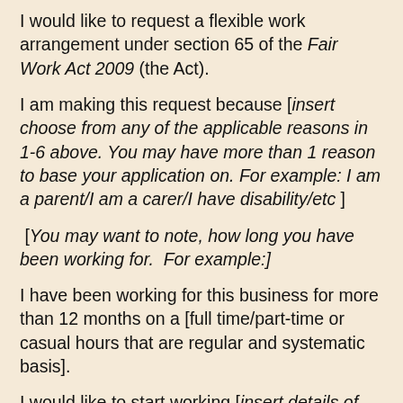I would like to request a flexible work arrangement under section 65 of the Fair Work Act 2009 (the Act).
I am making this request because [insert choose from any of the applicable reasons in 1-6 above. You may have more than 1 reason to base your application on. For example: I am a parent/I am a carer/I have disability/etc ]
[You may want to note, how long you have been working for.  For example:]
I have been working for this business for more than 12 months on a [full time/part-time or casual hours that are regular and systematic basis].
I would like to start working [insert details of the changes you want.  For example: shorter hours on less days, or starting late or new equipment
I would like this flexible working arrangement